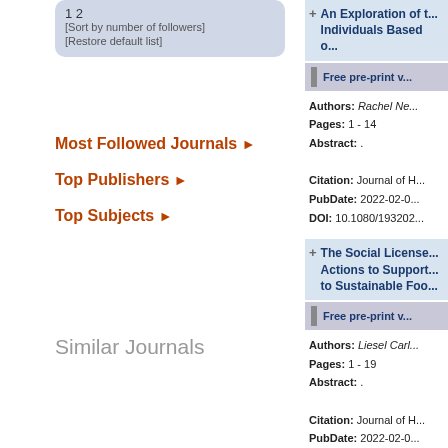1 2  [Sort by number of followers]  [Restore default list]
Most Followed Journals ▶
Top Publishers ▶
Top Subjects ▶
Similar Journals
+ An Exploration of t... Individuals Based o...
Free pre-print v...
Authors: Rachel Ne... Pages: 1 - 14 Abstract: . Citation: Journal of H... PubDate: 2022-02-0... DOI: 10.1080/193202...
+ The Social License... Actions to Support... to Sustainable Foo...
Free pre-print v...
Authors: Liesel Carl... Pages: 1 - 19 Abstract: . Citation: Journal of H... PubDate: 2022-02-0... DOI: 10.1080/193202...
+ Development and V... Survey for College...